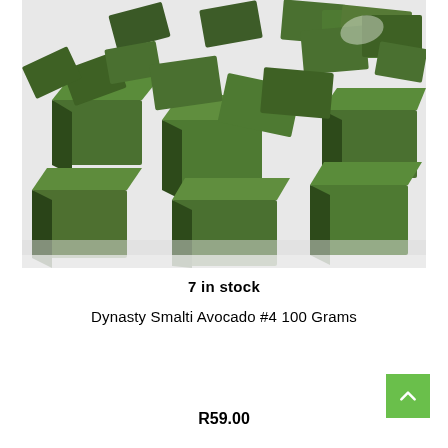[Figure (photo): Pile of green square smalti glass mosaic tiles/blocks in avocado green color, photographed on a white background]
7 in stock
Dynasty Smalti Avocado #4 100 Grams
R59.00